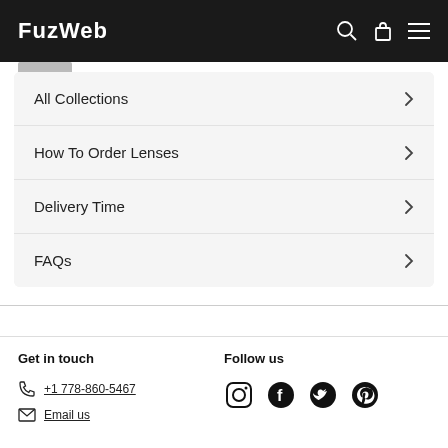FuzWeb
All Collections
How To Order Lenses
Delivery Time
FAQs
Get in touch
+1 778-860-5467
Email us
Follow us